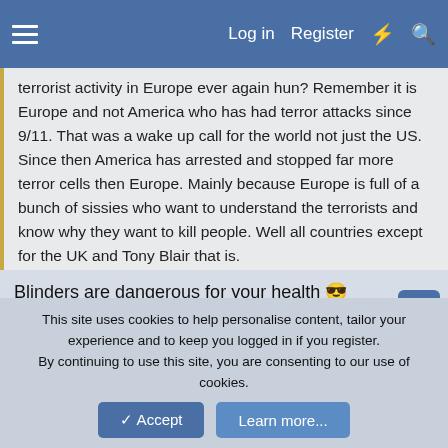Log in  Register
terrorist activity in Europe ever again hun? Remember it is Europe and not America who has had terror attacks since 9/11. That was a wake up call for the world not just the US. Since then America has arrested and stopped far more terror cells then Europe. Mainly because Europe is full of a bunch of sissies who want to understand the terrorists and know why they want to kill people. Well all countries except for the UK and Tony Blair that is.
Blinders are dangerous for your health 😎
Once again: you CANNOT eradicate terrorism through militarily invading a country that has nothing to do with terrorism activity. If you think you can, please keep your eyes closed and remain under your bed.
As for the "multiple" terrorist cells that the US arrested... why is it
This site uses cookies to help personalise content, tailor your experience and to keep you logged in if you register.
By continuing to use this site, you are consenting to our use of cookies.